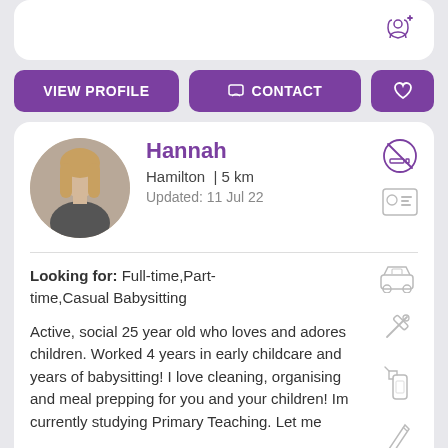[Figure (other): Profile card icon top right (person/add icon)]
VIEW PROFILE
CONTACT
❤
Hannah
Hamilton | 5 km
Updated: 11 Jul 22
Looking for: Full-time,Part-time,Casual Babysitting
Active, social 25 year old who loves and adores children. Worked 4 years in early childcare and years of babysitting! I love cleaning, organising and meal prepping for you and your children! Im currently studying Primary Teaching. Let me